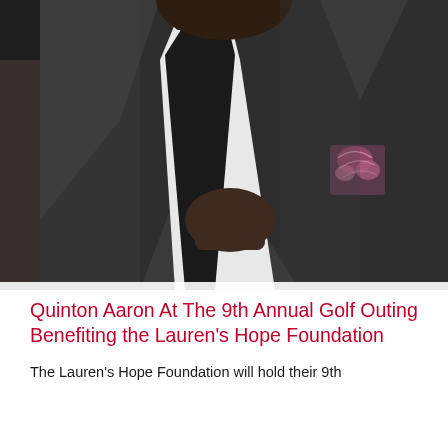[Figure (photo): Close-up photo of a large man in a dark charcoal suit with black lapels, white dress shirt, and black tie. A floral pink/purple pocket square is visible in his breast pocket. His hand rests near his chest. The background is slightly blurred showing other people.]
Quinton Aaron At The 9th Annual Golf Outing Benefiting the Lauren's Hope Foundation
The Lauren's Hope Foundation will hold their 9th